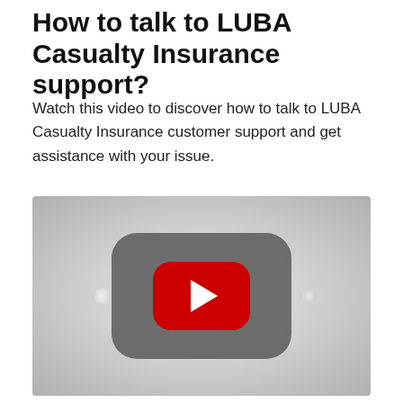How to talk to LUBA Casualty Insurance support?
Watch this video to discover how to talk to LUBA Casualty Insurance customer support and get assistance with your issue.
[Figure (screenshot): Embedded YouTube video player thumbnail showing a grey background with a YouTube play button (red rounded rectangle with white play triangle).]